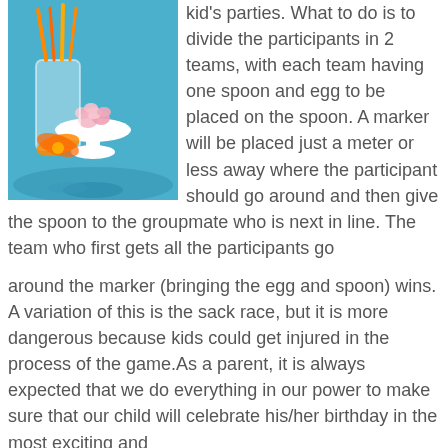[Figure (photo): Party table decoration with orange ribbons, candy in a glass, and pink marshmallows in a white bowl on a blue background]
kid's parties. What to do is to divide the participants in 2 teams, with each team having one spoon and egg to be placed on the spoon. A marker will be placed just a meter or less away where the participant should go around and then give the spoon to the groupmate who is next in line. The team who first gets all the participants go
around the marker (bringing the egg and spoon) wins. A variation of this is the sack race, but it is more dangerous because kids could get injured in the process of the game.As a parent, it is always expected that we do everything in our power to make sure that our child will celebrate his/her birthday in the most exciting and